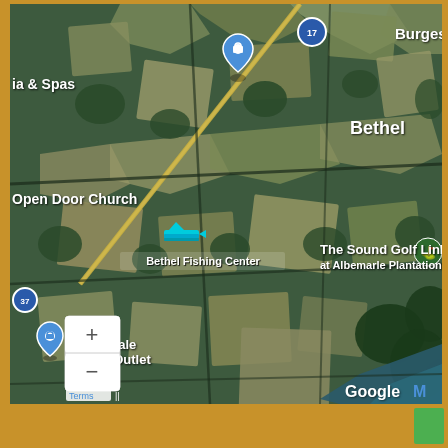[Figure (map): Google Maps satellite view showing the area around Bethel, North Carolina including landmarks: Burgess (top right), Bethel (center-left), Open Door Church (left), Bethel Fishing Center (center), The Sound Golf Links at Albemarle Plantation (center-right), Wholesale Fence Outlet (bottom-left), route markers 17 and 37, a blue location pin, zoom controls (+/-), Google Maps logo, and Terms label. The map shows agricultural fields and waterways from aerial/satellite view.]